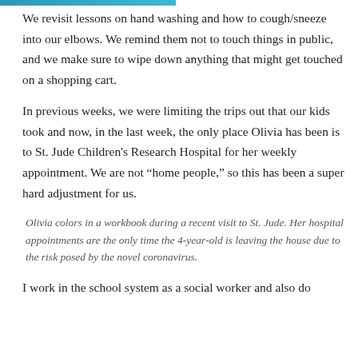We revisit lessons on hand washing and how to cough/sneeze into our elbows. We remind them not to touch things in public, and we make sure to wipe down anything that might get touched on a shopping cart.
In previous weeks, we were limiting the trips out that our kids took and now, in the last week, the only place Olivia has been is to St. Jude Children's Research Hospital for her weekly appointment. We are not “home people,” so this has been a super hard adjustment for us.
Olivia colors in a workbook during a recent visit to St. Jude. Her hospital appointments are the only time the 4-year-old is leaving the house due to the risk posed by the novel coronavirus.
I work in the school system as a social worker and also do